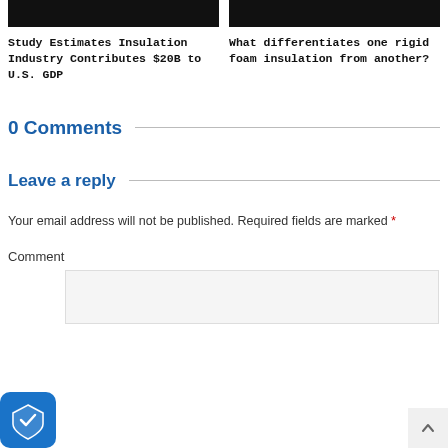[Figure (photo): Black thumbnail image for article about insulation industry]
Study Estimates Insulation Industry Contributes $20B to U.S. GDP
[Figure (photo): Black thumbnail image for article about rigid foam insulation]
What differentiates one rigid foam insulation from another?
0 Comments
Leave a reply
Your email address will not be published. Required fields are marked *
Comment